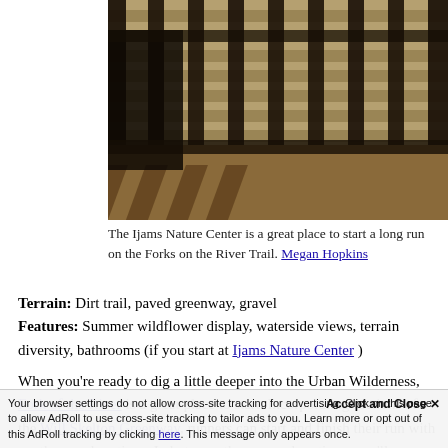[Figure (photo): Photo of wooden fence/railing close-up with sunlight and shadows, taken at Ijams Nature Center near the Forks on the River Trail]
The Ijams Nature Center is a great place to start a long run on the Forks on the River Trail. Megan Hopkins
Terrain: Dirt trail, paved greenway, gravel
Features: Summer wildflower display, waterside views, terrain diversity, bathrooms (if you start at Ijams Nature Center )
When you’re ready to dig a little deeper into the Urban Wilderness, Fork of the River is a great place to start. Incorporating sections of the Will Skelton Greenway, runners can start and finish their run with gentle paved sections. In between those paved sections, you’ll run through large fields, among mature hardwood trees, and over some
Your browser settings do not allow cross-site tracking for advertising. Click on this page to allow AdRoll to use cross-site tracking to tailor ads to you. Learn more or opt out of this AdRoll tracking by clicking here. This message only appears once.